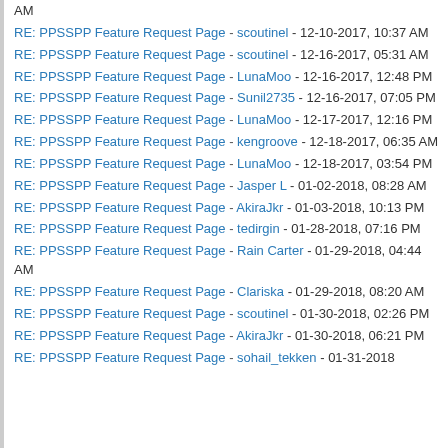RE: PPSSPP Feature Request Page - scoutinel - 12-10-2017, 10:37 AM
RE: PPSSPP Feature Request Page - scoutinel - 12-16-2017, 05:31 AM
RE: PPSSPP Feature Request Page - LunaMoo - 12-16-2017, 12:48 PM
RE: PPSSPP Feature Request Page - Sunil2735 - 12-16-2017, 07:05 PM
RE: PPSSPP Feature Request Page - LunaMoo - 12-17-2017, 12:16 PM
RE: PPSSPP Feature Request Page - kengroove - 12-18-2017, 06:35 AM
RE: PPSSPP Feature Request Page - LunaMoo - 12-18-2017, 03:54 PM
RE: PPSSPP Feature Request Page - Jasper L - 01-02-2018, 08:28 AM
RE: PPSSPP Feature Request Page - AkiraJkr - 01-03-2018, 10:13 PM
RE: PPSSPP Feature Request Page - tedirgin - 01-28-2018, 07:16 PM
RE: PPSSPP Feature Request Page - Rain Carter - 01-29-2018, 04:44 AM
RE: PPSSPP Feature Request Page - Clariska - 01-29-2018, 08:20 AM
RE: PPSSPP Feature Request Page - scoutinel - 01-30-2018, 02:26 PM
RE: PPSSPP Feature Request Page - AkiraJkr - 01-30-2018, 06:21 PM
RE: PPSSPP Feature Request Page - sohail_tekken - 01-31-2018